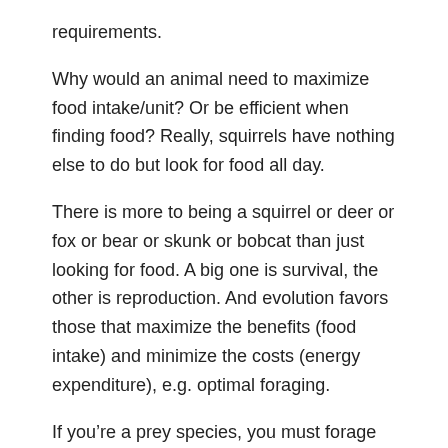requirements.
Why would an animal need to maximize food intake/unit? Or be efficient when finding food? Really, squirrels have nothing else to do but look for food all day.
There is more to being a squirrel or deer or fox or bear or skunk or bobcat than just looking for food. A big one is survival, the other is reproduction. And evolution favors those that maximize the benefits (food intake) and minimize the costs (energy expenditure), e.g. optimal foraging.
If you’re a prey species, you must forage efficiently to minimize your chance of being killed. If you’re a predator, you must forage efficiently to minimize